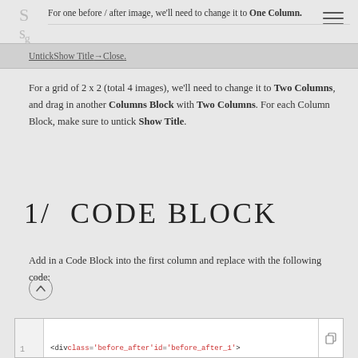For one before / after image, we'll need to change it to One Column. Untick Show Title → Close.
For a grid of 2 x 2 (total 4 images), we'll need to change it to Two Columns, and drag in another Columns Block with Two Columns. For each Column Block, make sure to untick Show Title.
1/  CODE BLOCK
Add in a Code Block into the first column and replace with the following code:
[Figure (screenshot): Code block editor showing HTML code with red/pink keywords for class and id attributes, line numbers on left, copy icon on right]